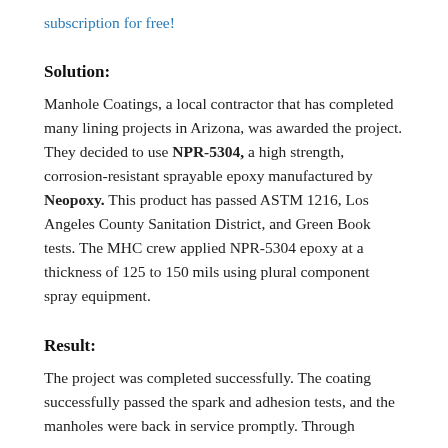subscription for free!
Solution:
Manhole Coatings, a local contractor that has completed many lining projects in Arizona, was awarded the project. They decided to use NPR-5304, a high strength, corrosion-resistant sprayable epoxy manufactured by Neopoxy. This product has passed ASTM 1216, Los Angeles County Sanitation District, and Green Book tests. The MHC crew applied NPR-5304 epoxy at a thickness of 125 to 150 mils using plural component spray equipment.
Result:
The project was completed successfully. The coating successfully passed the spark and adhesion tests, and the manholes were back in service promptly. Through